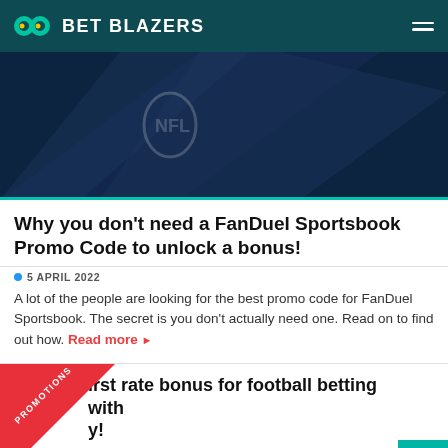BET BLAZERS
[Figure (photo): Dark navy blue hero image with NFL shield logo watermark and abstract geometric shapes]
Why you don't need a FanDuel Sportsbook Promo Code to unlock a bonus!
5 APRIL 2022
A lot of the people are looking for the best promo code for FanDuel Sportsbook. The secret is you don't actually need one. Read on to find out how. Read more ▶
...irst rate bonus for football betting with ...y!
FOOTBALL • 1 NOVEMBER 2021
Betway are without a doubt our football betting site of choice...